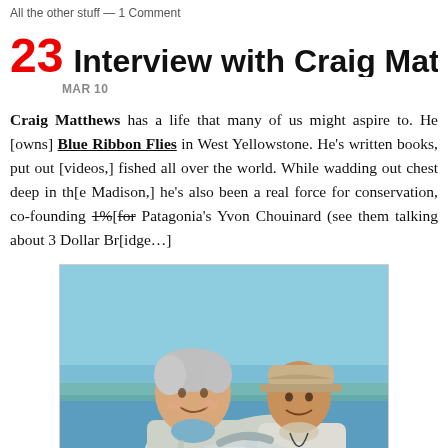All the other stuff — 1 Comment
23  Interview with Craig Matthews
MAR 10
Craig Matthews has a life that many of us might aspire to. He [owns] Blue Ribbon Flies in West Yellowstone. He's written books, put out [videos], fished all over the world. While wadding out chest deep in th[e Madison,] he's also been a real force for conservation, co-founding 1%[for the Planet with] Patagonia's Yvon Chouinard (see them talking about 3 Dollar Br[idge...)
[Figure (photo): Two men smiling and holding a large silver permit fish, standing on what appears to be a boat or flat with turquoise water and blue sky in background. Both wearing light fishing shirts; the man on the right wears a tan cap.]